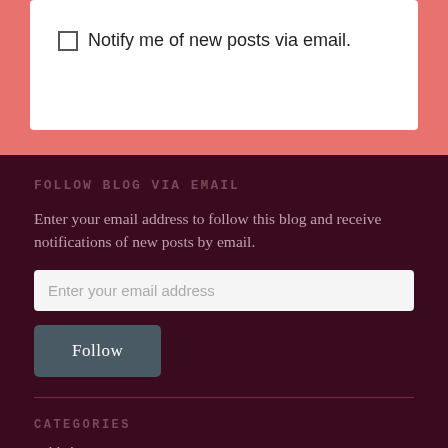Notify me of new posts via email.
FOLLOW BLOG VIA EMAIL
Enter your email address to follow this blog and receive notifications of new posts by email.
Enter your email address
Follow
CATEGORIES
» Haircare